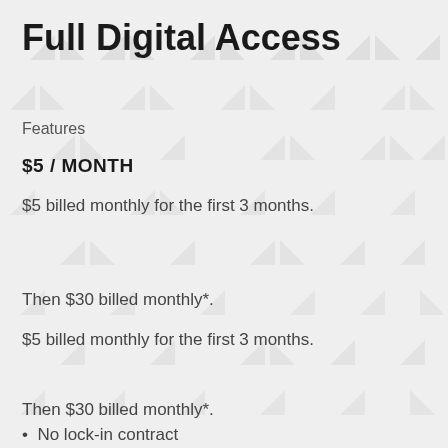Full Digital Access
Features
$5 / MONTH
$5 billed monthly for the first 3 months.
Then $30 billed monthly*.
$5 billed monthly for the first 3 months.
Then $30 billed monthly*.
No lock-in contract